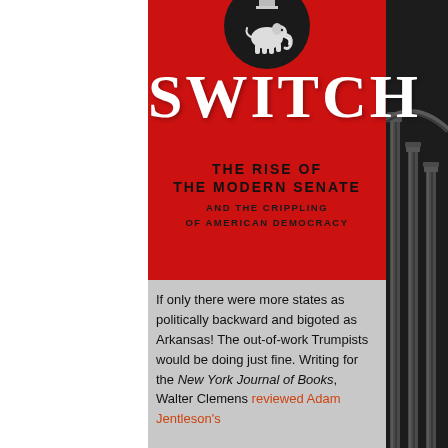[Figure (illustration): Book cover for 'SWITCH: The Rise of the Modern Senate and the Crippling of American Democracy'. Red background with black circle containing a white elephant (Republican Party symbol) and a Capitol dome icon. Large white SWITCH title, dark subtitle text below, with a gray lower section containing a review excerpt. Right side shows a black-and-white photo of the US Capitol dome columns.]
SWITCH
THE RISE OF THE MODERN SENATE AND THE CRIPPLING OF AMERICAN DEMOCRACY
If only there were more states as politically backward and bigoted as Arkansas! The out-of-work Trumpists would be doing just fine. Writing for the New York Journal of Books, Walter Clemens reviewed Adam Jentleson's